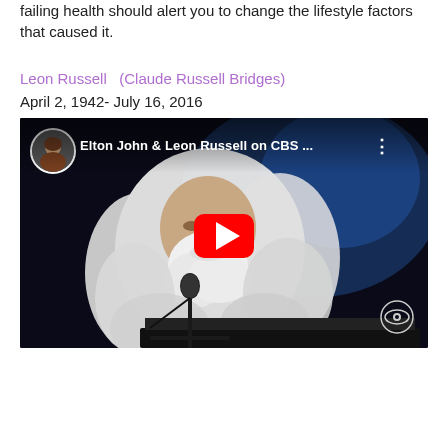failing health should alert you to change the lifestyle factors that caused it.
Leon Russell   (Claude Russell Bridges)
April 2, 1942- July 16, 2016
[Figure (screenshot): YouTube video embed showing Leon Russell performing at piano with long white hair, titled 'Elton John & Leon Russell on CBS ...' with a red play button overlay and CBS eye logo in bottom right corner. Small circular thumbnail of a person in top left.]